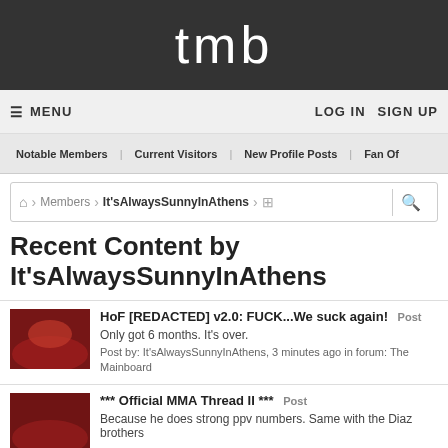tmb
≡ MENU    LOG IN    SIGN UP
Notable Members  Current Visitors  New Profile Posts  Fan Of
🏠 › Members › It'sAlwaysSunnyInAthens
Recent Content by It'sAlwaysSunnyInAthens
HoF [REDACTED] v2.0: FUCK...We suck again! Post
Only got 6 months. It's over.
Post by: It'sAlwaysSunnyInAthens, 3 minutes ago in forum: The Mainboard
*** Official MMA Thread II *** Post
Because he does strong ppv numbers. Same with the Diaz brothers